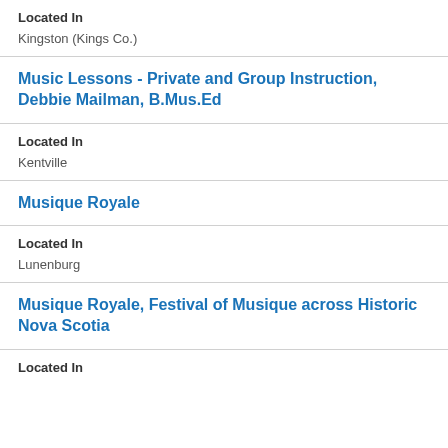Located In
Kingston (Kings Co.)
Music Lessons - Private and Group Instruction, Debbie Mailman, B.Mus.Ed
Located In
Kentville
Musique Royale
Located In
Lunenburg
Musique Royale, Festival of Musique across Historic Nova Scotia
Located In